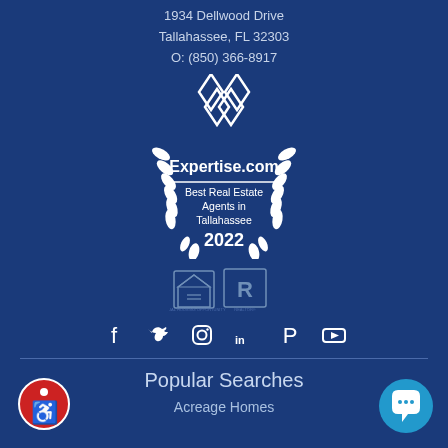1934 Dellwood Drive
Tallahassee, FL 32303
O: (850) 366-8917
[Figure (logo): Expertise.com badge — Best Real Estate Agents in Tallahassee 2022, with laurel wreath and diamond logo]
[Figure (logo): Equal Housing Opportunity and REALTOR logos]
[Figure (infographic): Social media icons row: Facebook, Twitter, Instagram, LinkedIn, Pinterest, YouTube]
Popular Searches
Acreage Homes